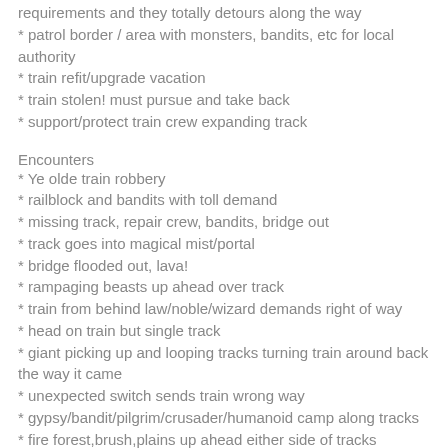requirements and they totally detours along the way
* patrol border / area with monsters, bandits, etc for local authority
* train refit/upgrade vacation
* train stolen! must pursue and take back
* support/protect train crew expanding track
Encounters
* Ye olde train robbery
* railblock and bandits with toll demand
* missing track, repair crew, bandits, bridge out
* track goes into magical mist/portal
* bridge flooded out, lava!
* rampaging beasts up ahead over track
* train from behind law/noble/wizard demands right of way
* head on train but single track
* giant picking up and looping tracks turning train around back the way it came
* unexpected switch sends train wrong way
* gypsy/bandit/pilgrim/crusader/humanoid camp along tracks
* fire forest,brush,plains up ahead either side of tracks
* dead animal on tracks. trap or not?
* car detaches